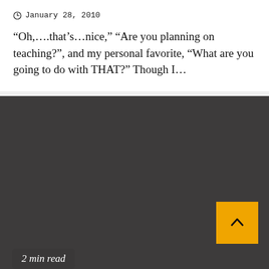January 28, 2010
“Oh,….that’s…nice,” “Are you planning on teaching?”, and my personal favorite, “What are you going to do with THAT?” Though I…
[Figure (other): Dark gray background panel with a yellow/orange scroll-to-top button in the bottom right corner containing an upward caret symbol, and a '2 min read' badge in the bottom left corner.]